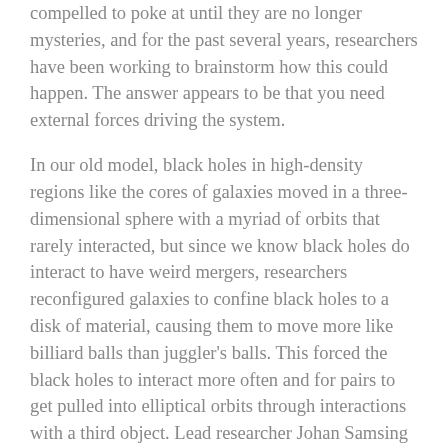compelled to poke at until they are no longer mysteries, and for the past several years, researchers have been working to brainstorm how this could happen. The answer appears to be that you need external forces driving the system.
In our old model, black holes in high-density regions like the cores of galaxies moved in a three-dimensional sphere with a myriad of orbits that rarely interacted, but since we know black holes do interact to have weird mergers, researchers reconfigured galaxies to confine black holes to a disk of material, causing them to move more like billiard balls than juggler's balls. This forced the black holes to interact more often and for pairs to get pulled into elliptical orbits through interactions with a third object. Lead researcher Johan Samsing adds: We have now shown that there can be a huge difference in the signals emitted from black holes that merge in flat, two-dimensional disks, versus those we often consider in